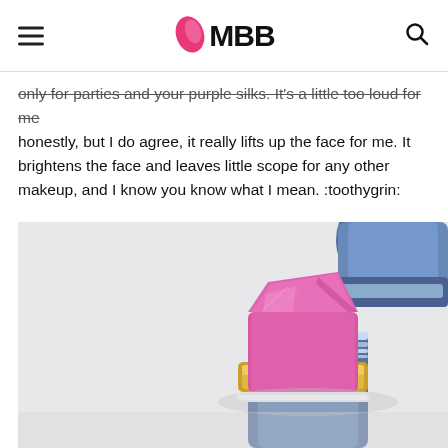IMBB
only for parties and your purple silks. It's a little too loud for me honestly, but I do agree, it really lifts up the face for me. It brightens the face and leaves little scope for any other makeup, and I know you know what I mean. :toothygrin:
[Figure (photo): Close-up photo of an open pink/magenta lipstick bullet in a blue and gold metallic tube, resting on a light gray surface, with the lipstick cap visible in the background upper right.]